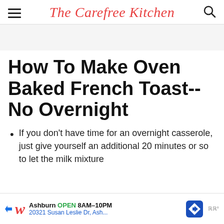The Carefree Kitchen
How To Make Oven Baked French Toast-- No Overnight
If you don't have time for an overnight casserole, just give yourself an additional 20 minutes or so to let the milk mixture
[Figure (other): Advertisement banner: Walgreens - Ashburn OPEN 8AM-10PM, 20321 Susan Leslie Dr, Ash...]